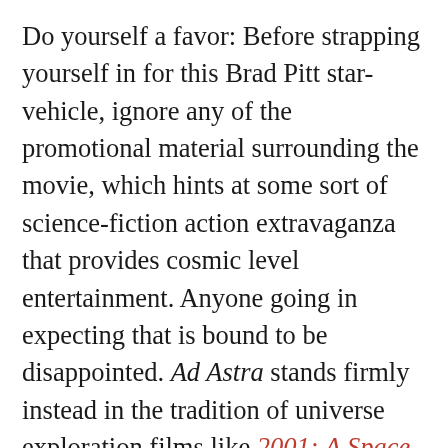Do yourself a favor: Before strapping yourself in for this Brad Pitt star-vehicle, ignore any of the promotional material surrounding the movie, which hints at some sort of science-fiction action extravaganza that provides cosmic level entertainment. Anyone going in expecting that is bound to be disappointed. Ad Astra stands firmly instead in the tradition of universe exploration films like 2001: A Space Odyssey, Contact, Interstellar, and Arrival that uses the cosmos as the backdrop to ruminate on what it means to be human.